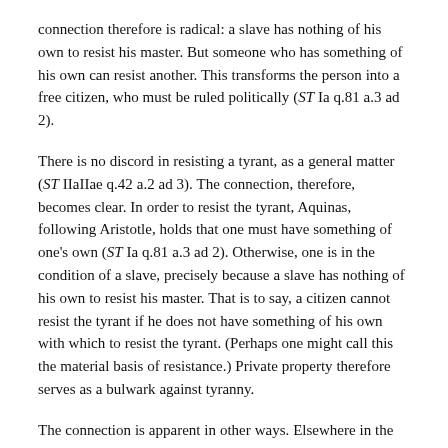connection therefore is radical: a slave has nothing of his own to resist his master. But someone who has something of his own can resist another. This transforms the person into a free citizen, who must be ruled politically (ST Ia q.81 a.3 ad 2).
There is no discord in resisting a tyrant, as a general matter (ST IIaIIae q.42 a.2 ad 3). The connection, therefore, becomes clear. In order to resist the tyrant, Aquinas, following Aristotle, holds that one must have something of one's own (ST Ia q.81 a.3 ad 2). Otherwise, one is in the condition of a slave, precisely because a slave has nothing of his own to resist his master. That is to say, a citizen cannot resist the tyrant if he does not have something of his own with which to resist the tyrant. (Perhaps one might call this the material basis of resistance.) Private property therefore serves as a bulwark against tyranny.
The connection is apparent in other ways. Elsewhere in the Politics, Aristotle discourses on common property. He makes, in the course of that discussion, a couple of interesting points. First, Aquinas observes that Aristotle holds that common property leads to dissensions among the citizens (In II Pol. L.4, n.nt8 n.10). It is another observation that discourages common